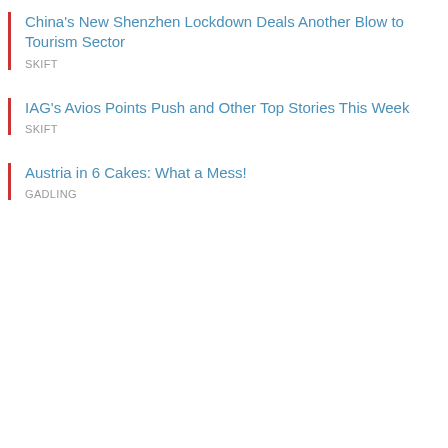China's New Shenzhen Lockdown Deals Another Blow to Tourism Sector
SKIFT
IAG's Avios Points Push and Other Top Stories This Week
SKIFT
Austria in 6 Cakes: What a Mess!
GADLING